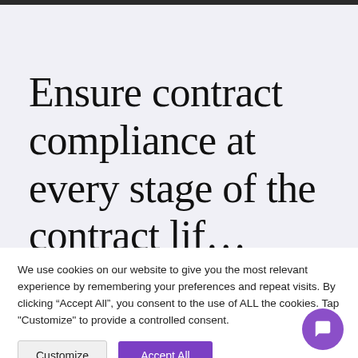Ensure contract compliance at every stage of the contract life...
We use cookies on our website to give you the most relevant experience by remembering your preferences and repeat visits. By clicking “Accept All”, you consent to the use of ALL the cookies. Tap "Customize" to provide a controlled consent.